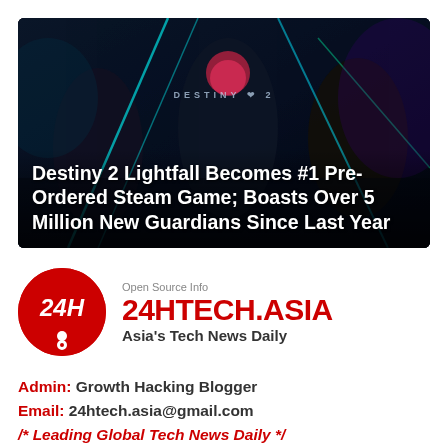[Figure (photo): Destiny 2 Lightfall promotional image showing three armored guardians with neon/cyberpunk sci-fi lighting against a dark blue background, with the game logo visible.]
Destiny 2 Lightfall Becomes #1 Pre-Ordered Steam Game; Boasts Over 5 Million New Guardians Since Last Year
[Figure (logo): 24HTECH.ASIA logo — red circle with '24H' text, beside 'Open Source Info' label, '24HTECH.ASIA' in red bold, and tagline 'Asia's Tech News Daily' in dark bold text.]
Admin: Growth Hacking Blogger
Email: 24htech.asia@gmail.com
/* Leading Global Tech News Daily */